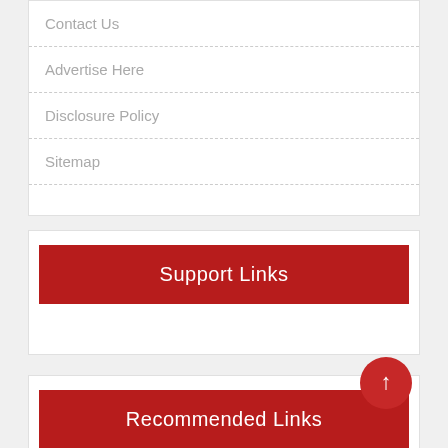Contact Us
Advertise Here
Disclosure Policy
Sitemap
Support Links
Recommended Links